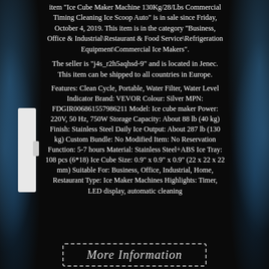item "Ice Cube Maker Machine 130Kg/28/Lbs Commercial Timing Cleaning Ice Scoop Auto" is in sale since Friday, October 4, 2019. This item is in the category "Business, Office & Industrial\Restaurant & Food Service\Refrigeration Equipment\Commercial Ice Makers".
The seller is "j4s_r2h5aqhsd-9" and is located in Jenec. This item can be shipped to all countries in Europe.
Features: Clean Cycle, Portable, Water Filter, Water Level Indicator Brand: VEVOR Colour: Silver MPN: FDGIR006861557986211 Model: Ice cube maker Power: 220V, 50 Hz, 750W Storage Capacity: About 88 lb (40 kg) Finish: Stainless Steel Daily Ice Output: About 287 lb (130 kg) Custom Bundle: No Modified Item: No Reservation Function: 5-7 hours Material: Stainless Steel+ABS Ice Tray: 108 pcs (6*18) Ice Cube Size: 0.9" x 0.9" x 0.9" (22 x 22 x 22 mm) Suitable For: Business, Office, Industrial, Home, Restaurant Type: Ice Maker Machines Highlights: Timer, LED display, automatic cleaning
More Information